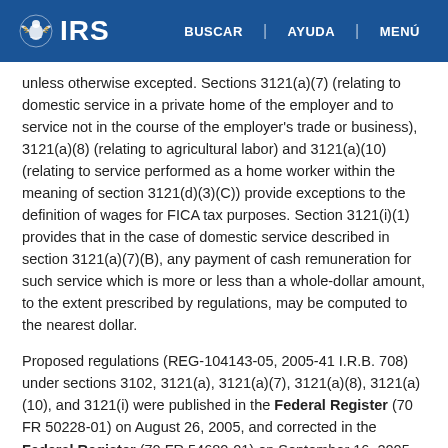IRS | BUSCAR | AYUDA | MENÚ
unless otherwise excepted. Sections 3121(a)(7) (relating to domestic service in a private home of the employer and to service not in the course of the employer's trade or business), 3121(a)(8) (relating to agricultural labor) and 3121(a)(10) (relating to service performed as a home worker within the meaning of section 3121(d)(3)(C)) provide exceptions to the definition of wages for FICA tax purposes. Section 3121(i)(1) provides that in the case of domestic service described in section 3121(a)(7)(B), any payment of cash remuneration for such service which is more or less than a whole-dollar amount, to the extent prescribed by regulations, may be computed to the nearest dollar.
Proposed regulations (REG-104143-05, 2005-41 I.R.B. 708) under sections 3102, 3121(a), 3121(a)(7), 3121(a)(8), 3121(a)(10), and 3121(i) were published in the Federal Register (70 FR 50228-01) on August 26, 2005, and corrected in the Federal Register (70 FR 54680-01) on September 16, 2005. No written or electronic comments